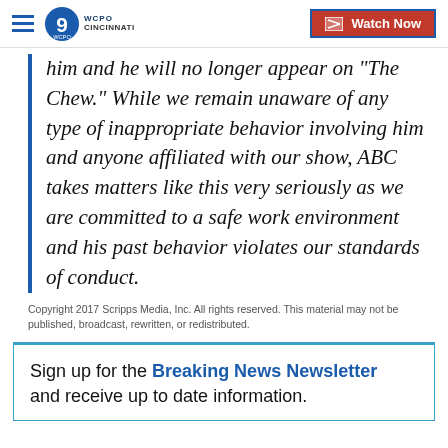WCPO 9 Cincinnati | Watch Now
him and he will no longer appear on “The Chew.” While we remain unaware of any type of inappropriate behavior involving him and anyone affiliated with our show, ABC takes matters like this very seriously as we are committed to a safe work environment and his past behavior violates our standards of conduct.
Copyright 2017 Scripps Media, Inc. All rights reserved. This material may not be published, broadcast, rewritten, or redistributed.
Sign up for the Breaking News Newsletter and receive up to date information.